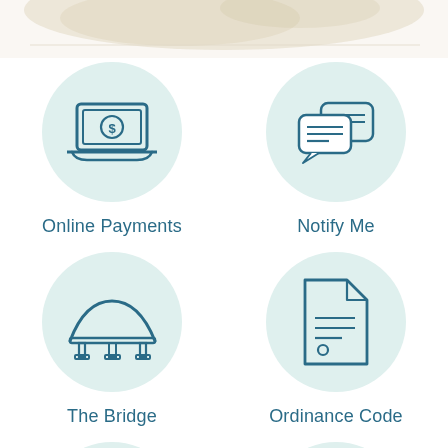[Figure (illustration): Decorative top background with faded tan/brown texture or map image]
[Figure (illustration): Laptop icon with dollar sign on screen, on light teal circular background]
Online Payments
[Figure (illustration): Chat/message bubbles icon on light teal circular background]
Notify Me
[Figure (illustration): Bridge/arch structure icon on light teal circular background]
The Bridge
[Figure (illustration): Document/ordinance icon on light teal circular background]
Ordinance Code
[Figure (illustration): Documents/files icon on light teal circular background (partially visible)]
[Figure (illustration): Calendar icon on light teal circular background (partially visible)]